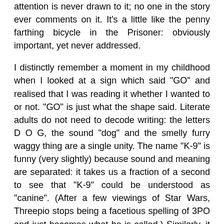attention is never drawn to it; no one in the story ever comments on it. It's a little like the penny farthing bicycle in the Prisoner: obviously important, yet never addressed.
I distinctly remember a moment in my childhood when I looked at a sign which said "GO" and realised that I was reading it whether I wanted to or not. "GO" is just what the shape said. Literate adults do not need to decode writing: the letters D O G, the sound "dog" and the smelly furry waggy thing are a single unity. The name "K-9" is funny (very slightly) because sound and meaning are separated: it takes us a fraction of a second to see that "K-9" could be understood as "canine". (After a few viewings of Star Wars, Threepio stops being a facetious spelling of 3PO and just becomes what he is called.) Similarly, it takes us a fraction of a second to see that "IMURJINSEE" means "Emergency". Leela, coming from a non-literate culture and still writing her name on the blackboard as "Lulu" must perceive all words like that. What if that difference in perception -- that inability to go from "EGSIT" to the concept of the way out, or to know that "inoculate" means "medicine-that-stops-you-getting-sick" were the very thing which makes her immune?